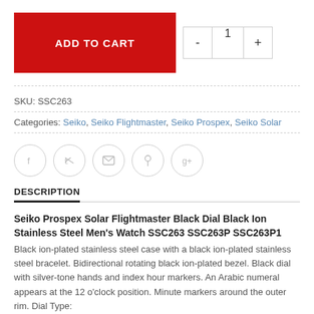[Figure (other): Add to Cart button (red) with quantity selector showing minus button, 1, plus button]
SKU: SSC263
Categories: Seiko, Seiko Flightmaster, Seiko Prospex, Seiko Solar
[Figure (other): Social share icons: Facebook, Twitter, Email, Pinterest, Google+]
DESCRIPTION
Seiko Prospex Solar Flightmaster Black Dial Black Ion Stainless Steel Men's Watch SSC263 SSC263P SSC263P1 Black ion-plated stainless steel case with a black ion-plated stainless steel bracelet. Bidirectional rotating black ion-plated bezel. Black dial with silver-tone hands and index hour markers. An Arabic numeral appears at the 12 o'clock position. Minute markers around the outer rim. Dial Type: